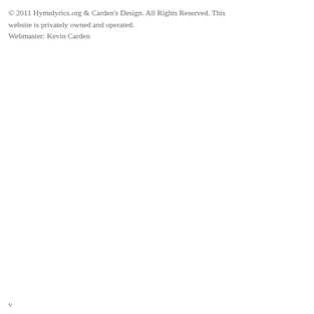© 2011 Hymnlyrics.org & Carden's Design. All Rights Reserved. This website is privately owned and operated.
Webmaster: Kevin Carden
v